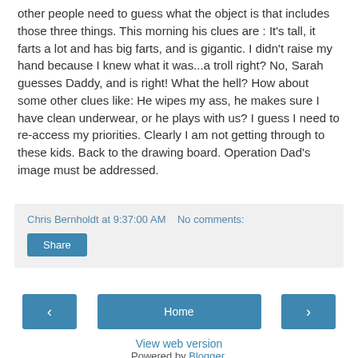other people need to guess what the object is that includes those three things. This morning his clues are : It's tall, it farts a lot and has big farts, and is gigantic. I didn't raise my hand because I knew what it was...a troll right? No, Sarah guesses Daddy, and is right! What the hell? How about some other clues like: He wipes my ass, he makes sure I have clean underwear, or he plays with us? I guess I need to re-access my priorities. Clearly I am not getting through to these kids. Back to the drawing board. Operation Dad's image must be addressed.
Chris Bernholdt at 9:37:00 AM   No comments:
Share
‹
Home
›
View web version
Powered by Blogger.